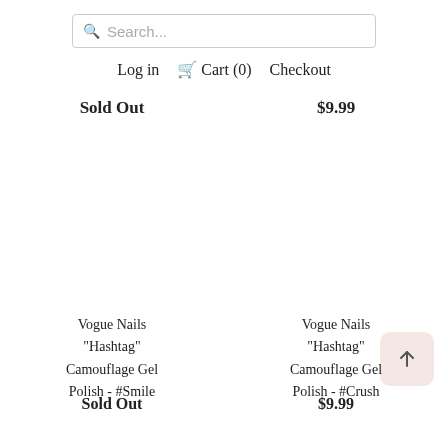Search...
Log in  Cart (0)  Checkout
Sold Out
$9.99
Vogue Nails "Hashtag" Camouflage Gel Polish - #Smile
Sold Out
Vogue Nails "Hashtag" Camouflage Gel Polish - #Crush
$9.99